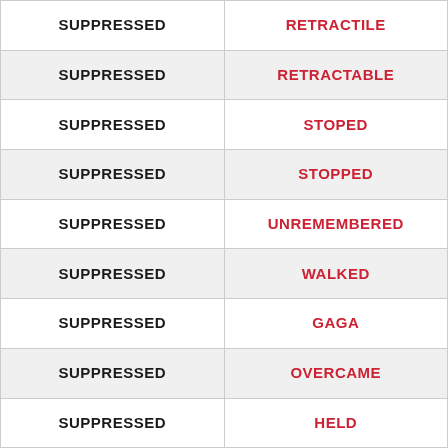| SUPPRESSED | RETRACTILE |
| SUPPRESSED | RETRACTABLE |
| SUPPRESSED | STOPED |
| SUPPRESSED | STOPPED |
| SUPPRESSED | UNREMEMBERED |
| SUPPRESSED | WALKED |
| SUPPRESSED | GAGA |
| SUPPRESSED | OVERCAME |
| SUPPRESSED | HELD |